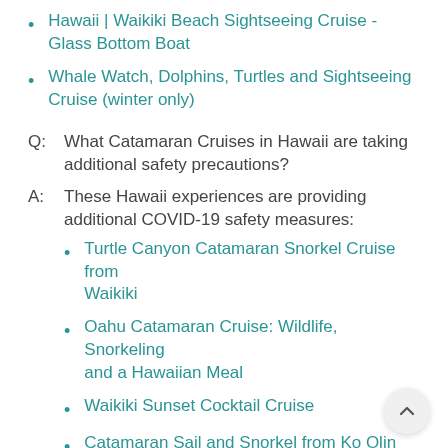Hawaii | Waikiki Beach Sightseeing Cruise - Glass Bottom Boat
Whale Watch, Dolphins, Turtles and Sightseeing Cruise (winter only)
Q:  What Catamaran Cruises in Hawaii are taking additional safety precautions?
A:  These Hawaii experiences are providing additional COVID-19 safety measures:
Turtle Canyon Catamaran Snorkel Cruise from Waikiki
Oahu Catamaran Cruise: Wildlife, Snorkeling and a Hawaiian Meal
Waikiki Sunset Cocktail Cruise
Catamaran Sail and Snorkel from Ko Olina
Afternoon Waikiki Glass Bottom Boat Cruise